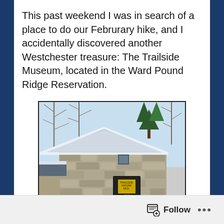This past weekend I was in search of a place to do our Februrary hike, and I accidentally discovered another Westchester treasure: The Trailside Museum, located in the Ward Pound Ridge Reservation.
[Figure (photo): Photo of the Trailside Museum stone building entrance in winter with snow on the ground. Three people are standing near the entrance door. Trees visible in background. Watermark reads HappyDayWestchester.com]
Follow •••